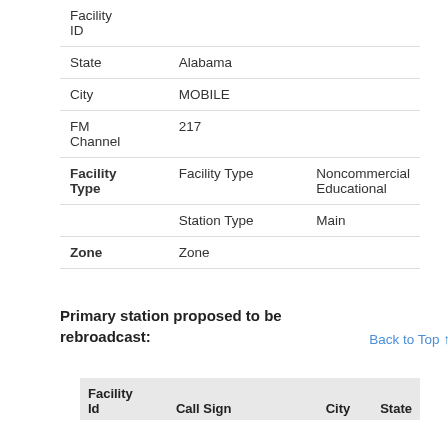|  |  |  |
| --- | --- | --- |
| Facility ID |  |  |
| State |  | Alabama |
| City |  | MOBILE |
| FM Channel |  | 217 |
| Facility Type | Facility Type | Noncommercial Educational |
|  | Station Type | Main |
| Zone | Zone |  |
Primary station proposed to be rebroadcast:
| Facility Id | Call Sign | City | State |
| --- | --- | --- | --- |